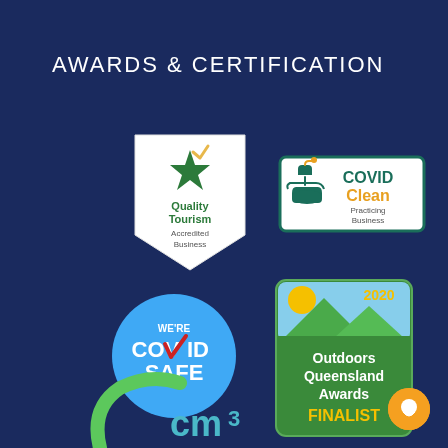AWARDS & CERTIFICATION
[Figure (logo): Quality Tourism Accredited Business badge - white shield shape with green star and yellow checkmark, text reads Quality Tourism Accredited Business]
[Figure (logo): COVID Clean Practicing Business badge - white rectangle with green border, green hand washing icon, text reads COVID Clean Practicing Business]
[Figure (logo): We're COVID Safe badge - blue circle with red checkmark, white text WE'RE COVID SAFE]
[Figure (logo): 2020 Outdoors Queensland Awards Finalist badge - green rounded rectangle with mountain and sun illustration, yellow text 2020 and FINALIST, white text Outdoors Queensland Awards]
[Figure (logo): cm3 logo - partial green curved shape with cm3 text in cyan/blue]